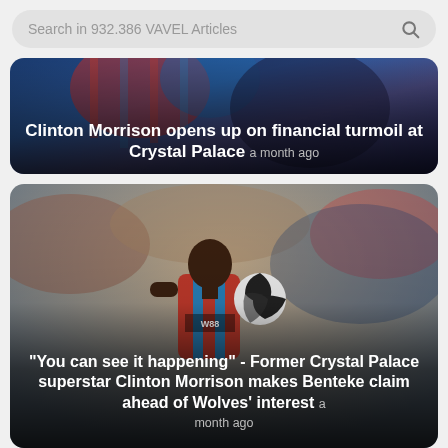Search in 932.386 VAVEL Articles
[Figure (photo): Football players in Crystal Palace red and blue striped kit during a match, overlaid with article headline about Clinton Morrison and financial turmoil at Crystal Palace]
Clinton Morrison opens up on financial turmoil at Crystal Palace a month ago
[Figure (photo): Christian Benteke in Crystal Palace red and blue striped jersey holding a football during a Premier League match, crowd blurred in background]
"You can see it happening" - Former Crystal Palace superstar Clinton Morrison makes Benteke claim ahead of Wolves' interest a month ago